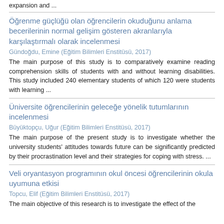expansion and ...
Öğrenme güçlüğü olan öğrencilerin okuduğunu anlama becerilerinin normal gelişim gösteren akranlarıyla karşılaştırmalı olarak incelenmesi
Gündoğdu, Emine (Eğitim Bilimleri Enstitüsü, 2017)
The main purpose of this study is to comparatively examine reading comprehension skills of students with and without learning disabilities. This study included 240 elementary students of which 120 were students with learning ...
Üniversite öğrencilerinin geleceğe yönelik tutumlarının incelenmesi
Büyüktopçu, Uğur (Eğitim Bilimleri Enstitüsü, 2017)
The main purpose of the present study is to investigate whether the university students' attitudes towards future can be significantly predicted by their procrastination level and their strategies for coping with stress. ...
Veli oryantasyon programının okul öncesi öğrencilerinin okula uyumuna etkisi
Topcu, Elif (Eğitim Bilimleri Enstitüsü, 2017)
The main objective of this research is to investigate the effect of the